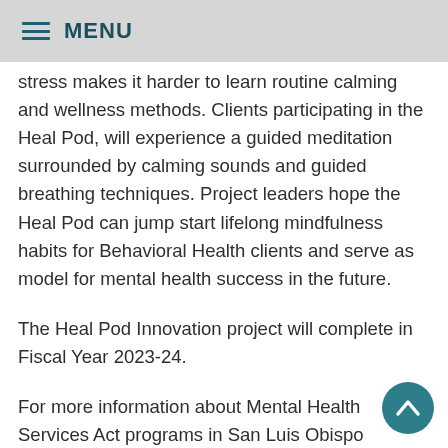≡ MENU
stress makes it harder to learn routine calming and wellness methods. Clients participating in the Heal Pod, will experience a guided meditation surrounded by calming sounds and guided breathing techniques. Project leaders hope the Heal Pod can jump start lifelong mindfulness habits for Behavioral Health clients and serve as model for mental health success in the future.
The Heal Pod Innovation project will complete in Fiscal Year 2023-24.
For more information about Mental Health Services Act programs in San Luis Obispo County, please visit www.slobehavioralhealth.com. More